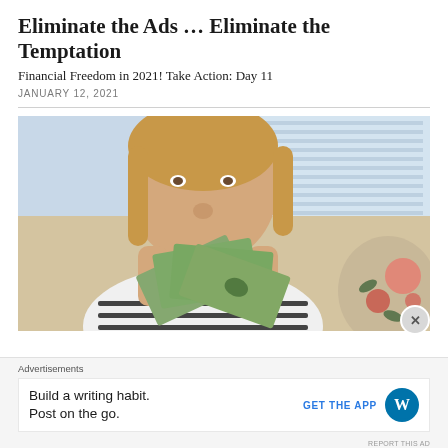Eliminate the Ads ... Eliminate the Temptation
Financial Freedom in 2021! Take Action: Day 11
JANUARY 12, 2021
[Figure (photo): Child holding fan of dollar bills in front of face, sitting near floral cushion and window blinds in background]
Advertisements
Build a writing habit.
Post on the go.
GET THE APP